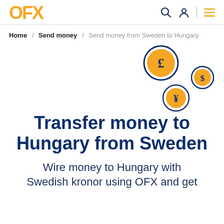OFX | Search | Account | Menu
Home / Send money / Send money from Sweden to Hungary
[Figure (illustration): Three currency coin icons arranged diagonally: a large pound (£) coin in navy ring, a medium dollar ($) coin in navy ring, and a yen (¥) coin in navy ring, scattered on white background]
Transfer money to Hungary from Sweden
Wire money to Hungary with Swedish kronor using OFX and get